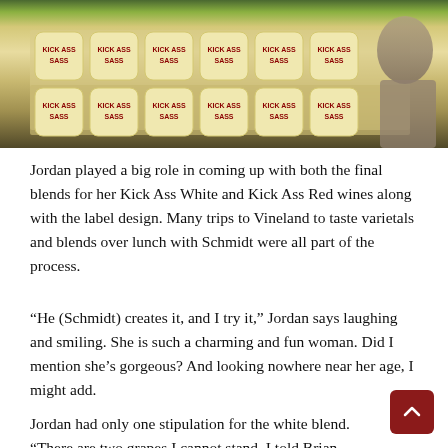[Figure (photo): Photo of rows of egg cartons or product packages with 'SASS' branding labels visible, person partially visible on right side]
Jordan played a big role in coming up with both the final blends for her Kick Ass White and Kick Ass Red wines along with the label design. Many trips to Vineland to taste varietals and blends over lunch with Schmidt were all part of the process.
“He (Schmidt) creates it, and I try it,” Jordan says laughing and smiling. She is such a charming and fun woman. Did I mention she’s gorgeous? And looking nowhere near her age, I might add.
Jordan had only one stipulation for the white blend. “There are two grapes I cannot stand, I told Brian. Chardonnay and Riesling”